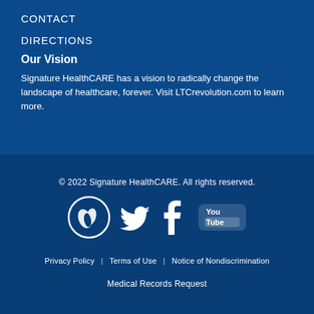CONTACT
DIRECTIONS
Our Vision
Signature HealthCARE has a vision to radically change the landscape of healthcare, forever. Visit LTCrevolution.com to learn more.
© 2022 Signature HealthCARE. All rights reserved.
[Figure (logo): Social media icons: Signature HealthCARE logo (circle with leaf/hand), Twitter bird, Facebook f, YouTube logo]
Privacy Policy | Terms of Use | Notice of Nondiscrimination
Medical Records Request